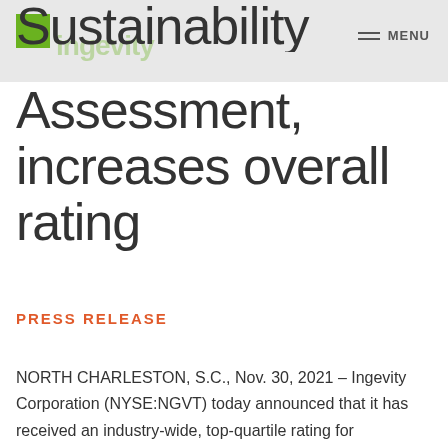Ingevity | MENU
Sustainability Assessment, increases overall rating
PRESS RELEASE
NORTH CHARLESTON, S.C., Nov. 30, 2021 – Ingevity Corporation (NYSE:NGVT) today announced that it has received an industry-wide, top-quartile rating for sustainability by the 2021 S&P Global Corporate Sustainability Assessment (CSA), an advancement in the company's overall rating due in large part to